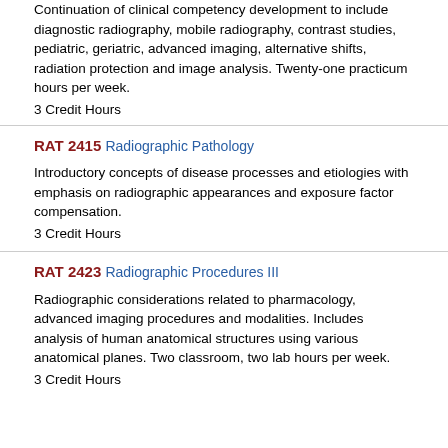Continuation of clinical competency development to include diagnostic radiography, mobile radiography, contrast studies, pediatric, geriatric, advanced imaging, alternative shifts, radiation protection and image analysis. Twenty-one practicum hours per week.
3 Credit Hours
RAT 2415 Radiographic Pathology
Introductory concepts of disease processes and etiologies with emphasis on radiographic appearances and exposure factor compensation.
3 Credit Hours
RAT 2423 Radiographic Procedures III
Radiographic considerations related to pharmacology, advanced imaging procedures and modalities. Includes analysis of human anatomical structures using various anatomical planes. Two classroom, two lab hours per week.
3 Credit Hours